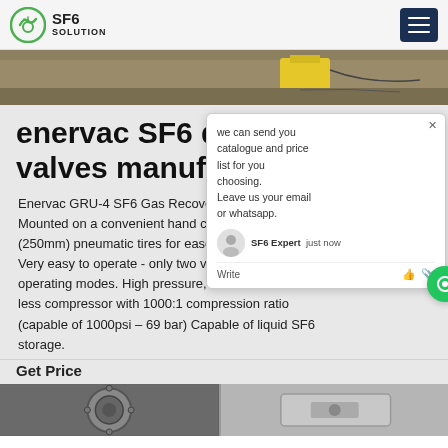SF6 SOLUTION
[Figure (photo): Outdoor industrial scene with yellow SF6 equipment on ground, cables visible]
enervac SF6 device valves manufacturer
Enervac GRU-4 SF6 Gas Recovery Unit. Mounted on a convenient hand cart with (250mm) pneumatic tires for ease of... Very easy to operate - only two valves to switch operating modes. High pressure, direct-drive oil-less compressor with 1000:1 compression ratio (capable of 1000psi – 69 bar) Capable of liquid SF6 storage.
Get Price
[Figure (photo): Two industrial valve/flange components shown at bottom of page]